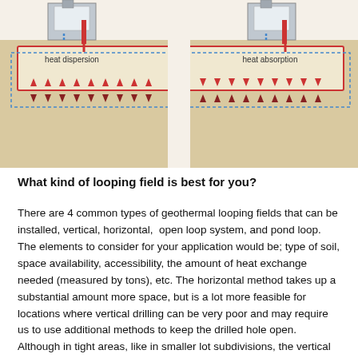[Figure (schematic): Geothermal horizontal loop field diagram showing two side-by-side systems: left system labeled 'heat dispersion' with red upward arrows and dark downward arrows indicating heat moving up from ground pipes; right system labeled 'heat absorption' with downward red arrows and upward arrows indicating heat moving into ground pipes. Both systems show buildings above ground connected to underground pipe loops (red and blue dashed borders) set in sandy/soil-colored ground.]
What kind of looping field is best for you?
There are 4 common types of geothermal looping fields that can be installed, vertical, horizontal,  open loop system, and pond loop.  The elements to consider for your application would be; type of soil, space availability, accessibility, the amount of heat exchange needed (measured by tons), etc. The horizontal method takes up a substantial amount more space, but is a lot more feasible for locations where vertical drilling can be very poor and may require us to use additional methods to keep the drilled hole open. Although in tight areas, like in smaller lot subdivisions, the vertical method takes up less room which allows us to apply more tons of